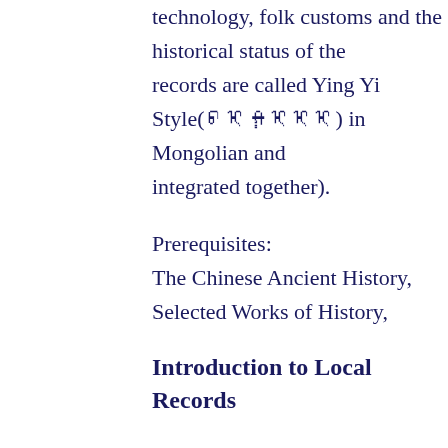technology, folk customs and the historical status of the records are called Ying Yi Style(᠊ᠢᠨᠦ ᠶᠤᠰᠤᠯᠠᠯ) in Mongolian and integrated together).
Prerequisites:
The Chinese Ancient History, Selected Works of History,
Introduction to Local Records
Credit:          2
Semester:              4
Course Type:        Elective
Instructor:       Chen Dedi
Course Description:
This course is divided into four chapters, describes: Fang local records of the methods and steps. Through study, stu